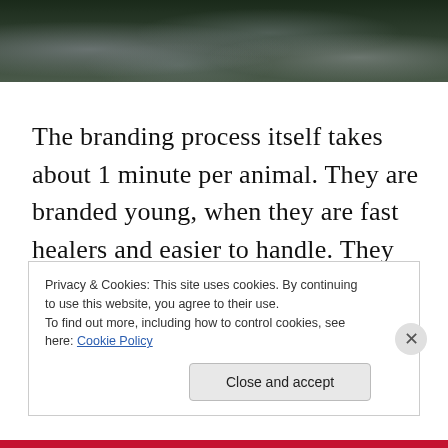[Figure (photo): Dark nature/outdoor photo showing rocks or terrain with snow, dark tones of green and grey]
The branding process itself takes about 1 minute per animal. They are branded young, when they are fast healers and easier to handle. They simply walk into a squeeze chute that hold them tight and then rocks back so the animal is on its side, which helps keep it
Privacy & Cookies: This site uses cookies. By continuing to use this website, you agree to their use.
To find out more, including how to control cookies, see here: Cookie Policy
Close and accept